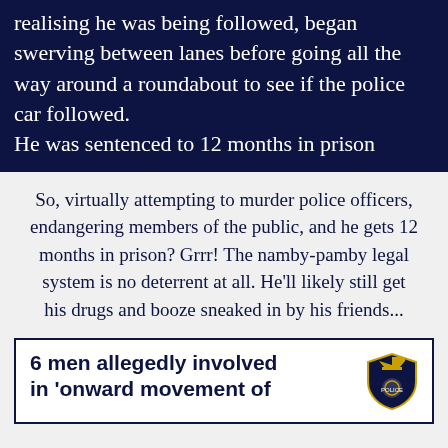realising he was being followed, began swerving between lanes before going all the way around a roundabout to see if the police car followed. He was sentenced to 12 months in prison
So, virtually attempting to murder police officers, endangering members of the public, and he gets 12 months in prison? Grrr! The namby-pamby legal system is no deterrent at all. He'll likely still get his drugs and booze sneaked in by his friends...
6 men allegedly involved in 'onward movement of